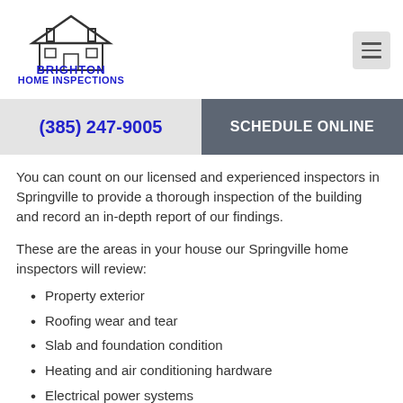[Figure (logo): Brighton Home Inspections logo with house illustration and tagline 'Your Building Consultant for Life']
(385) 247-9005
SCHEDULE ONLINE
You can count on our licensed and experienced inspectors in Springville to provide a thorough inspection of the building and record an in-depth report of our findings.
These are the areas in your house our Springville home inspectors will review:
Property exterior
Roofing wear and tear
Slab and foundation condition
Heating and air conditioning hardware
Electrical power systems
Plumbing and bathroom hardware